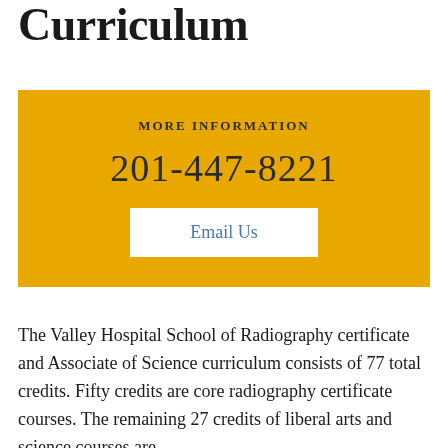Curriculum
[Figure (infographic): Gold/yellow information box with 'MORE INFORMATION' label, phone number 201-447-8221, and an Email Us button]
The Valley Hospital School of Radiography certificate and Associate of Science curriculum consists of 77 total credits. Fifty credits are core radiography certificate courses. The remaining 27 credits of liberal arts and science courses are